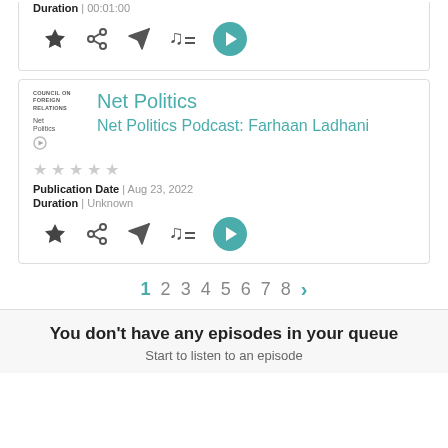Duration | 00:01:00
[Figure (screenshot): Action icons: star, share, send, playlist, play button]
Net Politics (podcast title)
Net Politics Podcast: Farhaan Ladhani (episode title)
★★★★★ (star rating, all empty)
Publication Date | Aug 23, 2022
Duration | Unknown
[Figure (screenshot): Action icons: star, share, send, playlist, play button]
Pagination: 1 2 3 4 5 6 7 8 >
You don't have any episodes in your queue
Start to listen to an episode